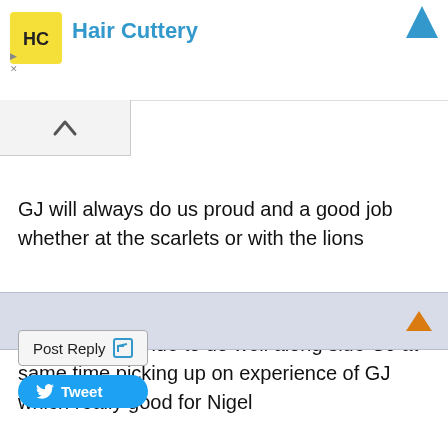[Figure (logo): Hair Cuttery advertisement banner with yellow logo and blue text]
GJ will always do us proud and a good job whether at the scarlets or with the lions
Nigel will continue to do well along side GJ at same time picking up on experience of GJ which really good for Nigel